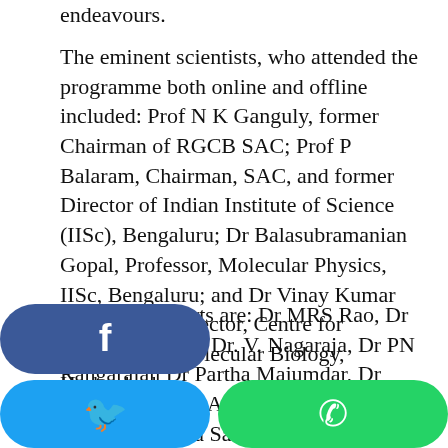endeavours.
The eminent scientists, who attended the programme both online and offline included: Prof N K Ganguly, former Chairman of RGCB SAC; Prof P Balaram, Chairman, SAC, and former Director of Indian Institute of Science (IISc), Bengaluru; Dr Balasubramanian Gopal, Professor, Molecular Physics, IISc, Bengaluru; and Dr Vinay Kumar Nandicoori, Director, Centre for Cellular and Molecular Biology, Hyderabad.
The other experts are: Dr MRS Rao, Dr Chaitanya Joshi, Dr. V. Nagaraja, Dr PN Rangarajan Dr Partha Majumdar, Dr Chakraborty, Dr Ajay Parida, Dr SV unkar, Dr Chitra Sarkar, Dr.Apurva g, and Dr Saumitra